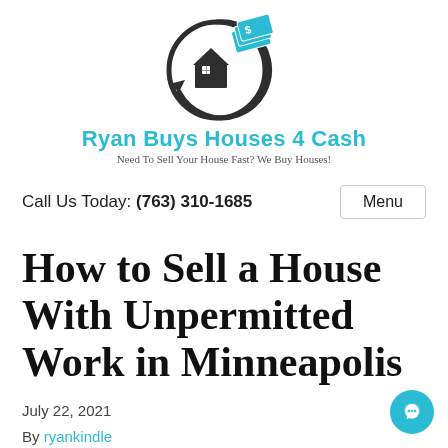[Figure (logo): Ryan Buys Houses 4 Cash logo: circular arrow graphic with house silhouette and cash/dollar bills in cyan, dark gray circle outline]
Ryan Buys Houses 4 Cash
Need To Sell Your House Fast? We Buy Houses!
Call Us Today: (763) 310-1685   Menu
How to Sell a House With Unpermitted Work in Minneapolis
July 22, 2021
By ryankindle